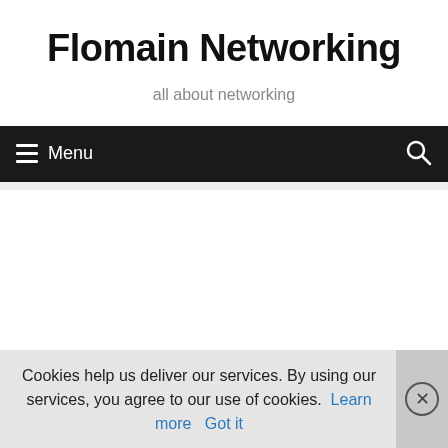Flomain Networking
all about networking
≡ Menu
Cookies help us deliver our services. By using our services, you agree to our use of cookies. Learn more Got it